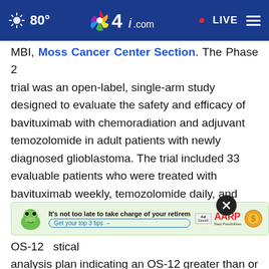80° NBC4i.com • LIVE
MBI, Moss Cancer Center Section. The Phase 2 trial was an open-label, single-arm study designed to evaluate the safety and efficacy of bavituximab with chemoradiation and adjuvant temozolomide in adult patients with newly diagnosed glioblastoma. The trial included 33 evaluable patients who were treated with bavituximab weekly, temozolomide daily, and chemoradiotherapy in accordance with hospital guidance. The primary endpoint of the trial was OS-12 ... statistical analysis plan indicating an OS-12 greater than or
[Figure (screenshot): AARP advertisement banner: 'It's not too late to take charge of your retirement. Get your top 3 tips.' with Ad Council and AARP logos, green frog mascot, and coin icon.]